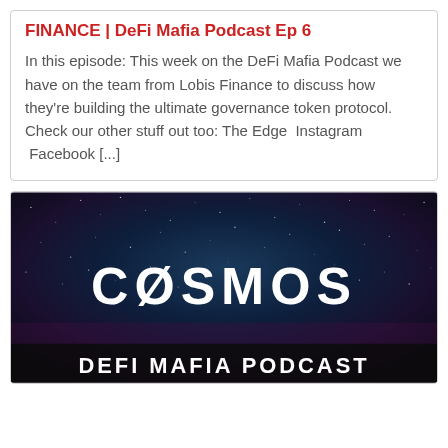FINANCE | DeFi Mafia Podcast Ep 6
In this episode: This week on the DeFi Mafia Podcast we have on the team from Lobis Finance to discuss how they're building the ultimate governance token protocol. Check our other stuff out too: The Edge  Instagram  Facebook [...]
[Figure (photo): Cosmos DeFi Mafia Podcast banner image with starry night sky background, large white text 'CØSMOS' in the center, and 'DEFI MAFIA PODCAST' in bold white text at the bottom.]